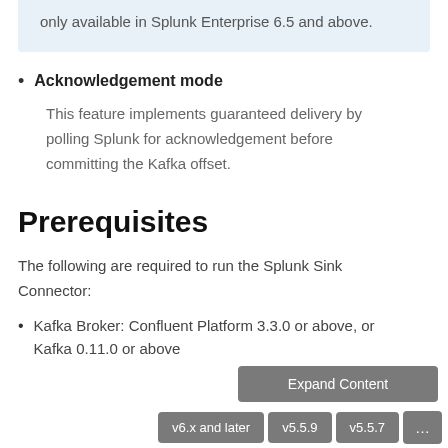only available in Splunk Enterprise 6.5 and above.
Acknowledgement mode — This feature implements guaranteed delivery by polling Splunk for acknowledgement before committing the Kafka offset.
Prerequisites
The following are required to run the Splunk Sink Connector:
Kafka Broker: Confluent Platform 3.3.0 or above, or Kafka 0.11.0 or above